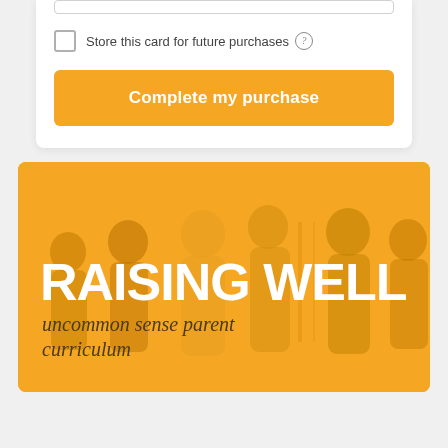Store this card for future purchases ?
Complete my purchase
[Figure (photo): Banner image showing a group of people with an amber/orange color overlay. Large white bold text reads 'RAISING WELL' and below it in dark italic text 'uncommon sense parent curriculum'.]